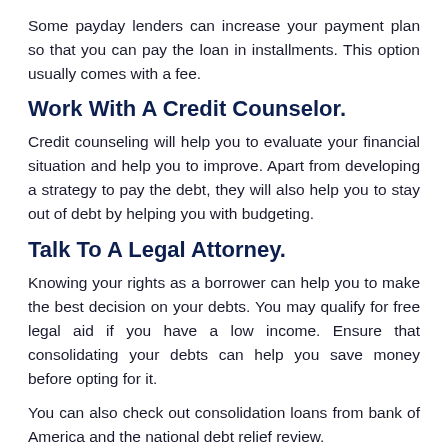Some payday lenders can increase your payment plan so that you can pay the loan in installments. This option usually comes with a fee.
Work With A Credit Counselor.
Credit counseling will help you to evaluate your financial situation and help you to improve. Apart from developing a strategy to pay the debt, they will also help you to stay out of debt by helping you with budgeting.
Talk To A Legal Attorney.
Knowing your rights as a borrower can help you to make the best decision on your debts. You may qualify for free legal aid if you have a low income. Ensure that consolidating your debts can help you save money before opting for it.
You can also check out consolidation loans from bank of America and the national debt relief review.